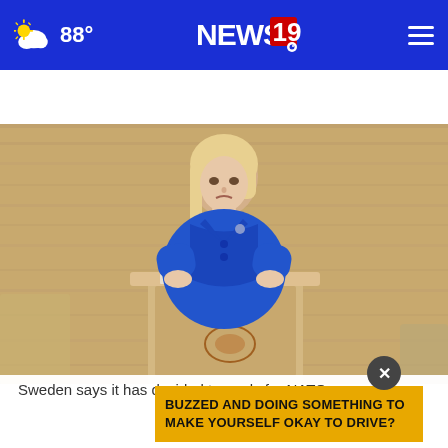NEWS 19 — 88°
AROUND THE WEB
[Figure (photo): Woman in blue blazer speaking at a podium in what appears to be a legislative chamber with wooden paneling]
Sweden says it has decided to apply for NATO mem…
BUZZED AND DOING SOMETHING TO MAKE YOURSELF OKAY TO DRIVE?